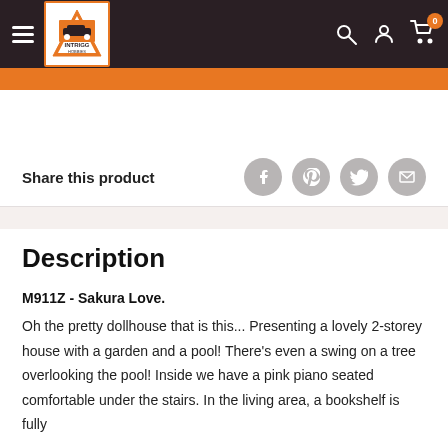INTRIGG Hobbies navigation bar with logo, hamburger menu, search, account, and cart icons
Share this product
Description
M911Z - Sakura Love.
Oh the pretty dollhouse that is this... Presenting a lovely 2-storey house with a garden and a pool! There's even a swing on a tree overlooking the pool! Inside we have a pink piano seated comfortable under the stairs. In the living area, a bookshelf is fully